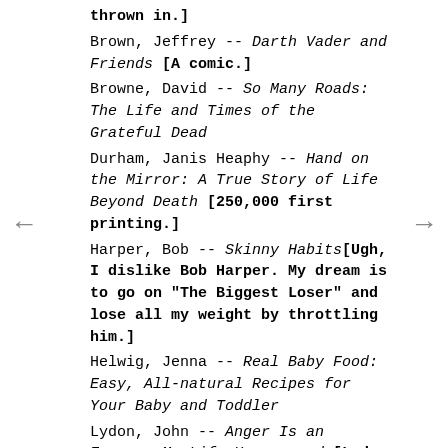thrown in.]
Brown, Jeffrey -- Darth Vader and Friends [A comic.]
Browne, David -- So Many Roads: The Life and Times of the Grateful Dead
Durham, Janis Heaphy -- Hand on the Mirror: A True Story of Life Beyond Death [250,000 first printing.]
Harper, Bob -- Skinny Habits[Ugh, I dislike Bob Harper. My dream is to go on "The Biggest Loser" and lose all my weight by throttling him.]
Helwig, Jenna -- Real Baby Food: Easy, All-natural Recipes for Your Baby and Toddler
Lydon, John -- Anger Is an Energy: My Life Uncensored [Lydon is also known as Johnny Rotten, frontman of the Sex Pistols. I won't get to this one, although I do love the title.]
Macdonald, Mark -- Why Kids Make You Fat